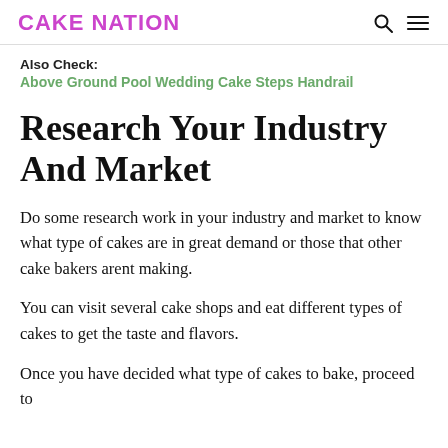CAKE NATION
Also Check:
Above Ground Pool Wedding Cake Steps Handrail
Research Your Industry And Market
Do some research work in your industry and market to know what type of cakes are in great demand or those that other cake bakers arent making.
You can visit several cake shops and eat different types of cakes to get the taste and flavors.
Once you have decided what type of cakes to bake, proceed to